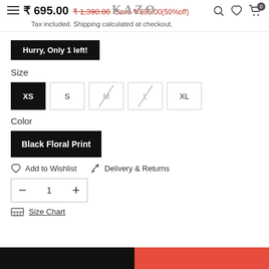KAZO
₹ 695.00  ₹ 1,390.00  Save ₹ 695.00(50%off)
Tax included. Shipping calculated at checkout.
Hurry, Only 1 left!
Size
XS (selected)
S
M (unavailable)
L (unavailable)
XL
Color
Black Floral Print
Add to Wishlist
Delivery & Returns
1
Size Chart